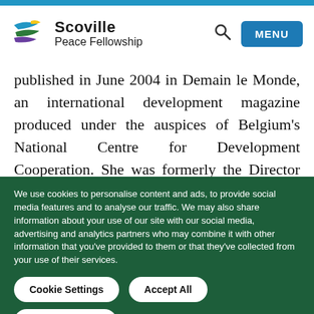Scoville Peace Fellowship
published in June 2004 in Demain le Monde, an international development magazine produced under the auspices of Belgium's National Centre for Development Cooperation. She was formerly the Director of the Africa
We use cookies to personalise content and ads, to provide social media features and to analyse our traffic. We may also share information about your use of our site with our social media, advertising and analytics partners who may combine it with other information that you've provided to them or that they've collected from your use of their services.
Cookie Settings
Accept All
Necessary only